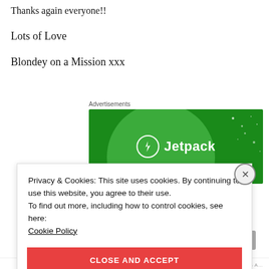Thanks again everyone!!
Lots of Love
Blondey on a Mission xxx
[Figure (screenshot): Jetpack advertisement banner with green background, circular lighter green shape, white Jetpack logo icon and text on dark green background with scattered white dots]
Privacy & Cookies: This site uses cookies. By continuing to use this website, you agree to their use.
To find out more, including how to control cookies, see here:
Cookie Policy
CLOSE AND ACCEPT